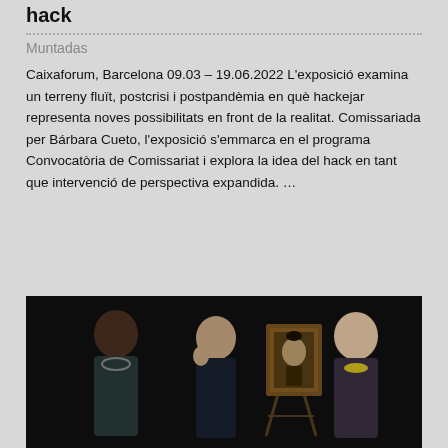hack
Muntadas
Caixaforum, Barcelona 09.03 – 19.06.2022 L'exposició examina un terreny fluït, postcrisi i postpandèmia en què hackejar representa noves possibilitats en front de la realitat. Comissariada per Bárbara Cueto, l'exposició s'emmarca en el programa Convocatòria de Comissariat i explora la idea del hack en tant que intervenció de perspectiva expandida. …
[Figure (photo): Three people standing in front of a classical portrait painting on an easel against a dark background. Left: a tall person with a necklace, center: a person looking thoughtful, right: a woman wearing a yellow necklace.]